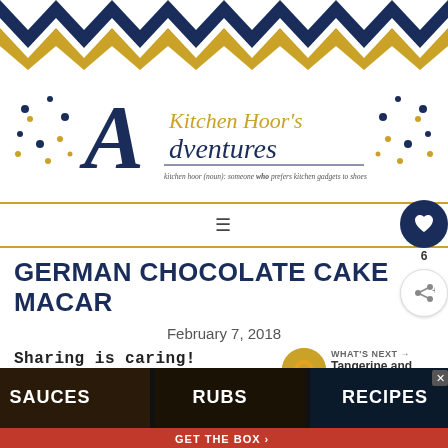[Figure (illustration): Zigzag chevron pattern header in navy blue and golden yellow colors]
[Figure (logo): A Kitchen Hoor's Adventures blog logo with stylized A letter, script and decorative dot elements. Tagline: kitchen hoor (noun): someone who prefers kitchen gadgets to shoes]
GERMAN CHOCOLATE CAKE MACAR
February 7, 2018
Sharing is caring!
[Figure (infographic): Social sharing buttons: Facebook, Twitter, Pinterest, Heart/Save, Yum]
[Figure (infographic): What's Next section: Tangerine and Dark... with circular thumbnail]
[Figure (illustration): Advertisement banner: SAUCES, RUBS, RECIPES - GET THE BOX with red chevron pattern]